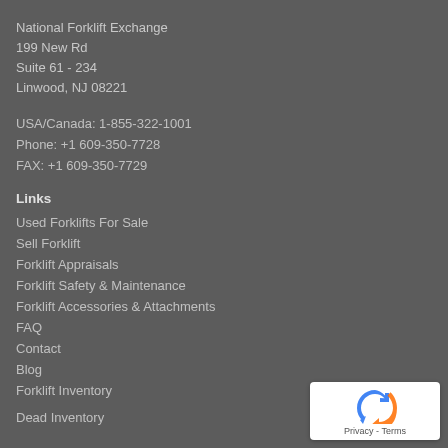National Forklift Exchange
199 New Rd
Suite 61 - 234
Linwood, NJ 08221
USA/Canada: 1-855-322-1001
Phone: +1 609-350-7728
FAX: +1 609-350-7729
Links
Used Forklifts For Sale
Sell Forklift
Forklift Appraisals
Forklift Safety & Maintenance
Forklift Accessories & Attachments
FAQ
Contact
Blog
Forklift Inventory
Dead Inventory
[Figure (logo): reCAPTCHA badge with Privacy and Terms links]